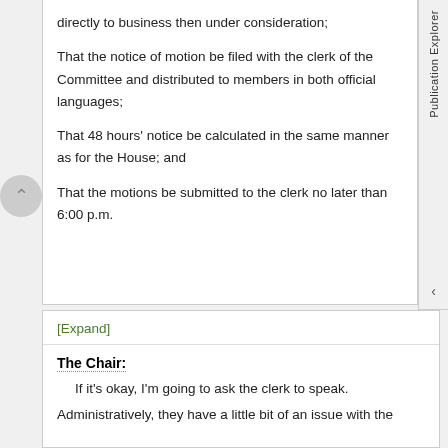directly to business then under consideration;
That the notice of motion be filed with the clerk of the Committee and distributed to members in both official languages;
That 48 hours' notice be calculated in the same manner as for the House; and
That the motions be submitted to the clerk no later than 6:00 p.m.
[Expand]
The Chair:
If it's okay, I'm going to ask the clerk to speak.
Administratively, they have a little bit of an issue with the